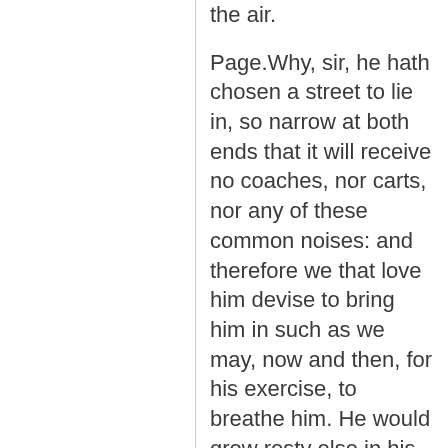the air.
Page.Why, sir, he hath chosen a street to lie in, so narrow at both ends that it will receive no coaches, nor carts, nor any of these common noises: and therefore we that love him devise to bring him in such as we may, now and then, for his exercise, to breathe him. He would grow resty else in his cage; his virtue would rust without action. I